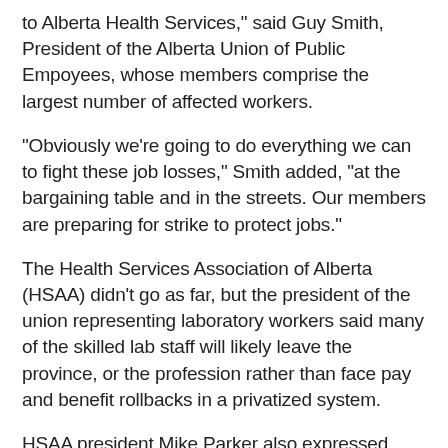to Alberta Health Services," said Guy Smith, President of the Alberta Union of Public Empoyees, whose members comprise the largest number of affected workers.
"Obviously we're going to do everything we can to fight these job losses," Smith added, "at the bargaining table and in the streets. Our members are preparing for strike to protect jobs."
The Health Services Association of Alberta (HSAA) didn't go as far, but the president of the union representing laboratory workers said many of the skilled lab staff will likely leave the province, or the profession rather than face pay and benefit rollbacks in a privatized system.
HSAA president Mike Parker also expressed doubts that the government will see any long-term savings.
"Will this truly be a savings? I doubt it. And it's going to cost if you look back historically, an immense amount of